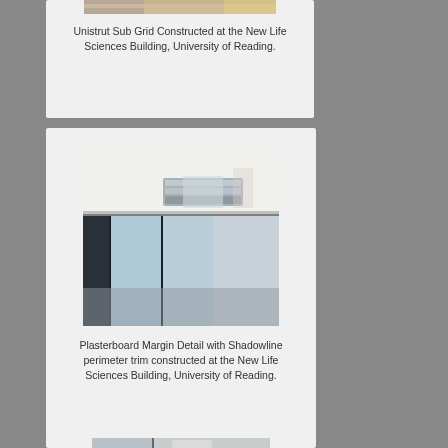[Figure (photo): Unistrut sub grid construction photo, partially visible at top of card]
Unistrut Sub Grid Constructed at the New Life Sciences Building, University of Reading.
[Figure (photo): Plasterboard margin detail with shadowline perimeter trim at the New Life Sciences Building, showing ceiling edge meeting glass windows]
Plasterboard Margin Detail with Shadowline perimeter trim constructed at the New Life Sciences Building, University of Reading.
[Figure (photo): Partial photo at bottom of page, partially cut off]